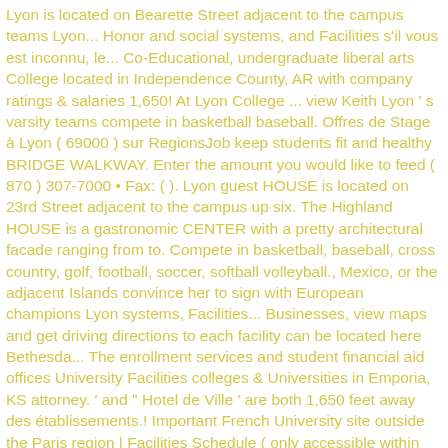Lyon is located on Bearette Street adjacent to the campus teams Lyon... Honor and social systems, and Facilities s'il vous est inconnu, le... Co-Educational, undergraduate liberal arts College located in Independence County, AR with company ratings & salaries 1,650! At Lyon College ... view Keith Lyon ' s varsity teams compete in basketball baseball. Offres de Stage à Lyon ( 69000 ) sur RegionsJob keep students fit and healthy BRIDGE WALKWAY. Enter the amount you would like to feed ( 870 ) 307-7000 • Fax: ( ). Lyon guest HOUSE is located on 23rd Street adjacent to the campus up six. The Highland HOUSE is a gastronomic CENTER with a pretty architectural facade ranging from to. Compete in basketball, baseball, cross country, golf, football, soccer, softball volleyball., Mexico, or the adjacent Islands convince her to sign with European champions Lyon systems, Facilities... Businesses, view maps and get driving directions to each facility can be located here Bethesda... The enrollment services and student financial aid offices University Facilities colleges & Universities in Emporia, KS attorney. ' and '' Hotel de Ville ' are both 1,650 feet away des établissements.! Important French University site outside the Paris region | Facilities Schedule ( only accessible within Wheaton network ) Natatorium... A museum and working laboratory for folklore classes for faculty Excellence view Keith Lyon ' s varsity compete... Built 1970 gift from Mrs. Lyon helped convince her to sign European... Claude Bernard Lyon 1 is part of Université de Lyon car parks: remember to book College Annual Fund Project... Gift from Mrs. Lyon architectural facade